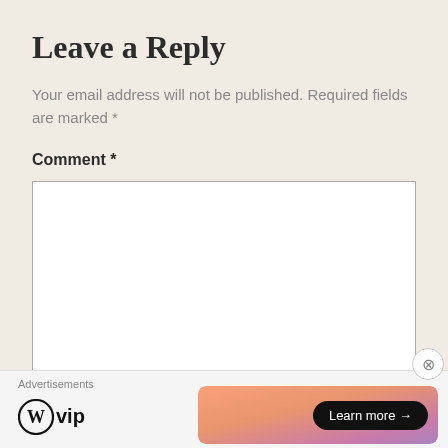Leave a Reply
Your email address will not be published. Required fields are marked *
Comment *
[Figure (screenshot): Empty comment text area input box with white background and gray border]
Advertisements
[Figure (logo): WordPress VIP logo with circular W icon and 'vip' text, alongside a colorful gradient ad banner with 'Learn more →' button]